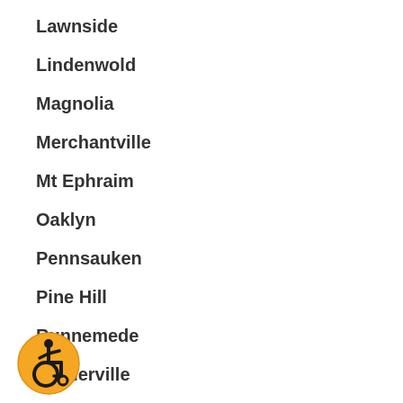Lawnside
Lindenwold
Magnolia
Merchantville
Mt Ephraim
Oaklyn
Pennsauken
Pine Hill
Runnemede
Sicklerville
Somerdale
Stratford
[Figure (logo): Accessibility icon — orange circle with wheelchair user symbol in black]